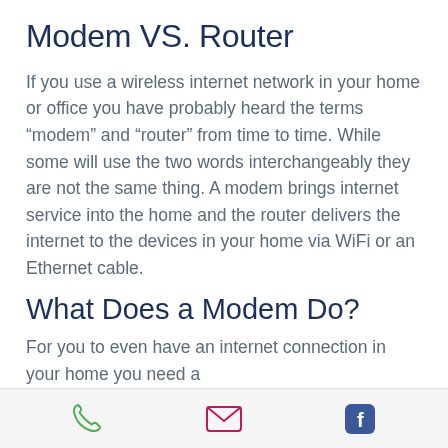Modem VS. Router
If you use a wireless internet network in your home or office you have probably heard the terms “modem” and “router” from time to time. While some will use the two words interchangeably they are not the same thing. A modem brings internet service into the home and the router delivers the internet to the devices in your home via WiFi or an Ethernet cable.
What Does a Modem Do?
For you to even have an internet connection in your home you need a
phone | email | facebook